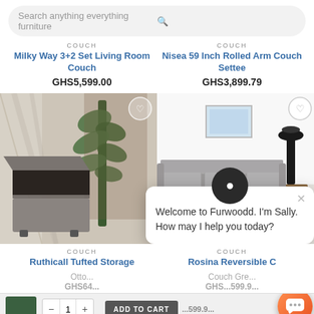[Figure (screenshot): Search bar with placeholder text 'Search anything everything furniture' and magnifying glass icon]
COUCH
Milky Way 3+2 Set Living Room Couch
GHS5,599.00
COUCH
Nisea 59 Inch Rolled Arm Couch Settee
GHS3,899.79
[Figure (photo): Gray tufted storage ottoman with lid open, showing interior, with plant in background]
[Figure (photo): Gray sectional sofa in white living room with lamp and wall art]
[Figure (screenshot): Chat popup with avatar, close button, and message: Welcome to Furwoodd. I'm Sally. How may I help you today?]
COUCH
Ruthicall Tufted Storage
COUCH
Rosina Reversible C
GHS64...
GHS...599.9...
ADD TO CART